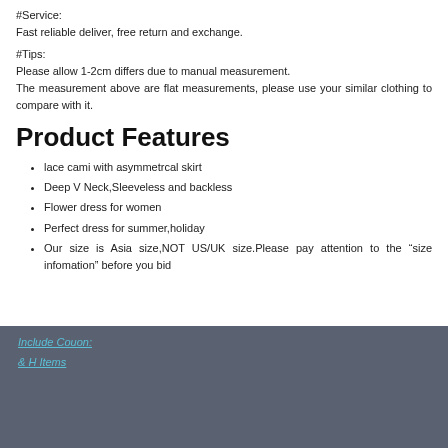#Service:
Fast reliable deliver, free return and exchange.
#Tips:
Please allow 1-2cm differs due to manual measurement.
The measurement above are flat measurements, please use your similar clothing to compare with it.
Product Features
lace cami with asymmetrcal skirt
Deep V Neck,Sleeveless and backless
Flower dress for women
Perfect dress for summer,holiday
Our size is Asia size,NOT US/UK size.Please pay attention to the “size infomation” before you bid
Include Couon
& H Items